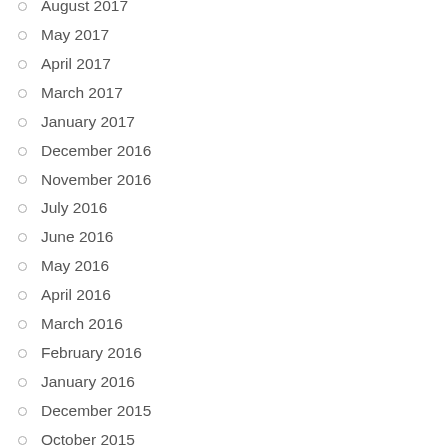August 2017
May 2017
April 2017
March 2017
January 2017
December 2016
November 2016
July 2016
June 2016
May 2016
April 2016
March 2016
February 2016
January 2016
December 2015
October 2015
August 2015
July 2015